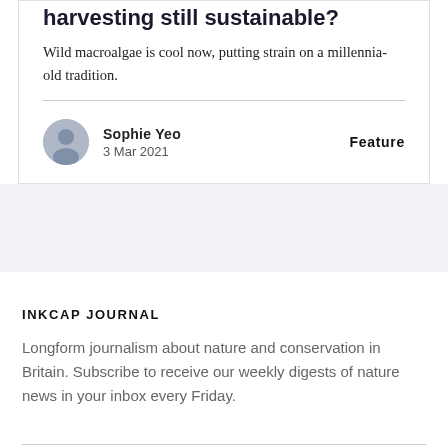harvesting still sustainable?
Wild macroalgae is cool now, putting strain on a millennia-old tradition.
Sophie Yeo
3 Mar 2021
Feature
INKCAP JOURNAL
Longform journalism about nature and conservation in Britain. Subscribe to receive our weekly digests of nature news in your inbox every Friday.